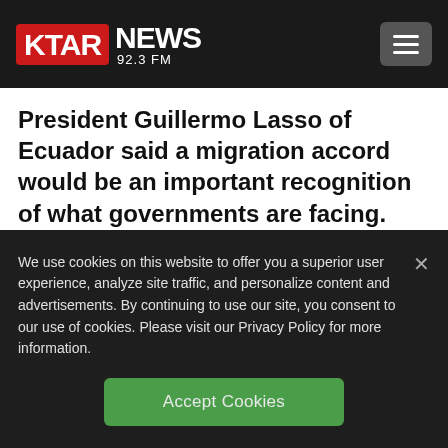[Figure (logo): KTAR NEWS 92.3 FM logo with red KTAR badge and hamburger menu button on dark navbar]
President Guillermo Lasso of Ecuador said a migration accord would be an important recognition of what governments are facing.
“(When) you speak about problems and it becomes part of a declaration, a summit as
We use cookies on this website to offer you a superior user experience, analyze site traffic, and personalize content and advertisements. By continuing to use our site, you consent to our use of cookies. Please visit our Privacy Policy for more information.
Accept Cookies